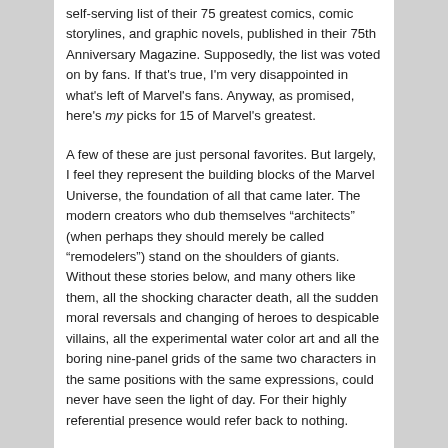self-serving list of their 75 greatest comics, comic storylines, and graphic novels, published in their 75th Anniversary Magazine. Supposedly, the list was voted on by fans. If that's true, I'm very disappointed in what's left of Marvel's fans. Anyway, as promised, here's my picks for 15 of Marvel's greatest.
A few of these are just personal favorites. But largely, I feel they represent the building blocks of the Marvel Universe, the foundation of all that came later. The modern creators who dub themselves “architects” (when perhaps they should merely be called “remodelers”) stand on the shoulders of giants. Without these stories below, and many others like them, all the shocking character death, all the sudden moral reversals and changing of heroes to despicable villains, all the experimental water color art and all the boring nine-panel grids of the same two characters in the same positions with the same expressions, could never have seen the light of day. For their highly referential presence would refer back to nothing.